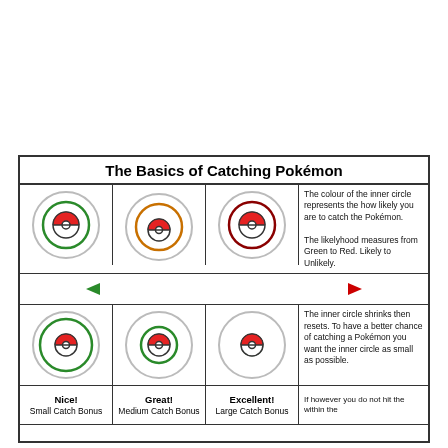The Basics of Catching Pokémon
[Figure (illustration): Three Pokéballs with colored inner circles: green (easy catch), orange (medium), dark red (hard). Represents catch likelihood by color.]
The colour of the inner circle represents the how likely you are to catch the Pokémon. The likelyhood measures from Green to Red. Likely to Unlikely.
[Figure (infographic): Gradient arrow from green (left) to red (right) showing likelihood scale.]
[Figure (illustration): Three Pokéballs with green inner circles at different sizes: large, medium, small — illustrating the shrinking inner circle mechanic.]
The inner circle shrinks then resets. To have a better chance of catching a Pokémon you want the inner circle as small as possible.
Nice! Small Catch Bonus
Great! Medium Catch Bonus
Excellent! Large Catch Bonus
If however you do not hit the within the